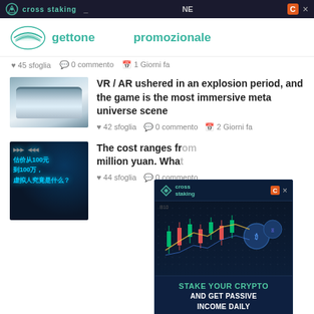cross staking | NE
[Figure (logo): Site logo with wing/bird shape and teal text reading 'gettone' and 'promozionale']
♥ 45 sfoglia   💬 0 commento   📅 1 Giorni fa
[Figure (photo): VR headset / goggles thumbnail image]
VR / AR ushered in an explosion period, and the game is the most immersive meta universe scene
♥ 42 sfoglia   💬 0 commento   📅 2 Giorni fa
[Figure (photo): Chinese language image showing text about virtual humans costing 100 yuan to 1 million yuan (估价从100元到100万，虚拟人究竟是什么？)]
The cost ranges from million yuan. What
♥ 44 sfoglia   💬 0 commento
[Figure (screenshot): Cross Staking advertisement overlay showing crypto trading chart with candles and coins, with text 'STAKE YOUR CRYPTO AND GET PASSIVE INCOME DAILY']